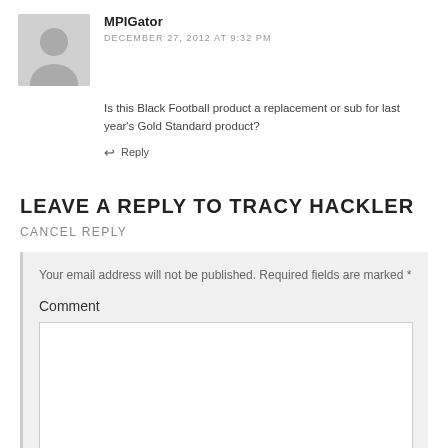MPIGator
DECEMBER 27, 2012 AT 9:32 PM
Is this Black Football product a replacement or sub for last year's Gold Standard product?
Reply
LEAVE A REPLY TO TRACY HACKLER CANCEL REPLY
Your email address will not be published. Required fields are marked *
Comment
Name *